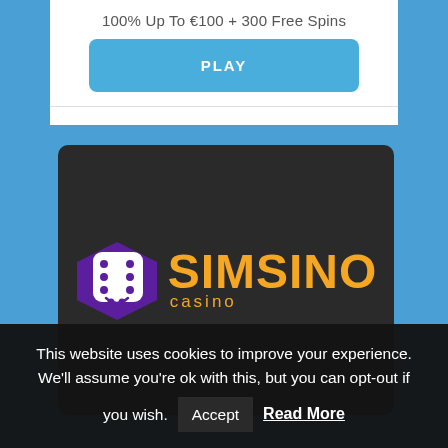100% Up To €100 + 300 Free Spins
PLAY
[Figure (logo): Simsino Casino logo: a white cartoon dice with dots and a smile face in a purple diamond shape, next to bold orange text 'SIMSINO' with smaller orange text 'casino' below, all on a dark background]
This website uses cookies to improve your experience. We'll assume you're ok with this, but you can opt-out if you wish. Accept Read More